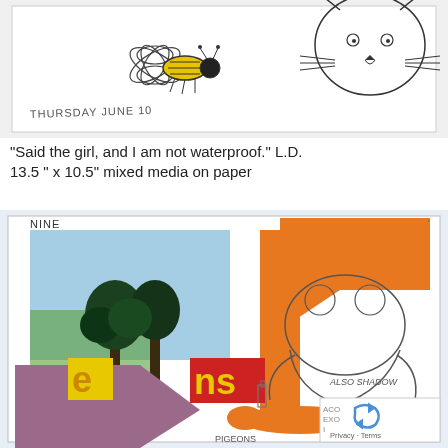[Figure (photo): Child's mixed media artwork showing insects and a cat drawn on paper. Hand-written text at bottom reads 'THURSDAY JUNE 10'. Features a colorful bee/fly illustration with pen sketches.]
"Said the girl, and I am not waterproof." L.D.
13.5 " x 10.5" mixed media on paper
[Figure (photo): Child's mixed media artwork labeled 'NINE' at top left. Features colorful collage elements including orange shapes, a tree, cut-out letters 'e' and 'ns', purple shapes, orange bird/animal, and pen sketches of a bear and other figures. Text visible includes 'ALSO SHADOW', 'PIGEONS', 'NOT A WRITER'. Bottom right corner shows a reCAPTCHA widget with 'Privacy - Terms' text.]